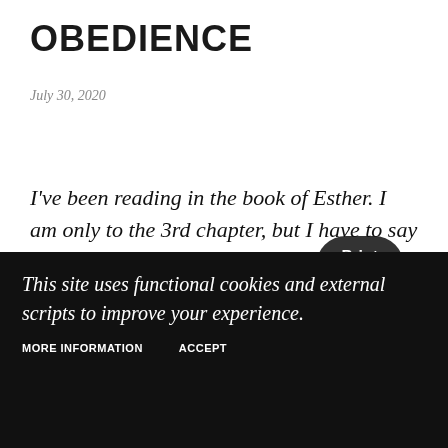OBEDIENCE
July 30, 2020
Print 🖨
I've been reading in the book of Esther. I am only to the 3rd chapter, but I have to say the one theme that jumps out at me is obedience.
This site uses functional cookies and external scripts to improve your experience.
MORE INFORMATION   ACCEPT